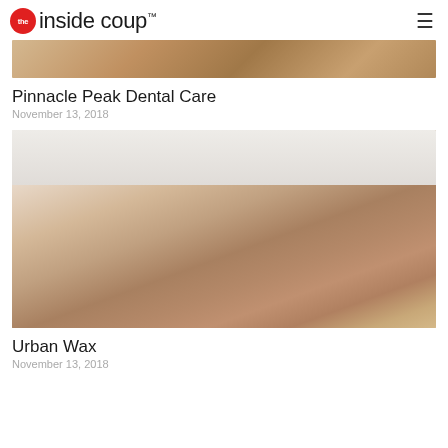the inside coup
[Figure (photo): Partial top of article image, showing hands holding a drink, person wearing yellow/mustard sweater]
Pinnacle Peak Dental Care
November 13, 2018
[Figure (photo): Three young women sitting against a white wall blowing or tossing white fluffy material (like cotton or powder), wearing light-colored outfits]
Urban Wax
November 13, 2018